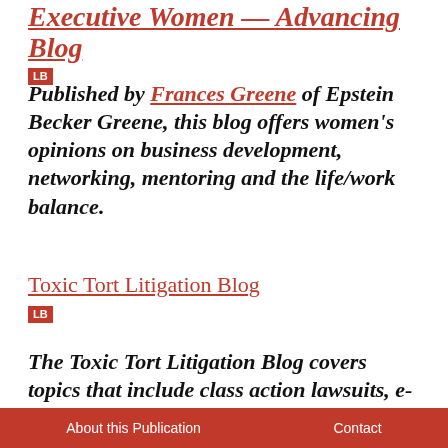Executive Women — Advancing Blog
LB
Published by Frances Greene of Epstein Becker Greene, this blog offers women's opinions on business development, networking, mentoring and the life/work balance.
Toxic Tort Litigation Blog
LB
The Toxic Tort Litigation Blog covers topics that include class action lawsuits, e-discovery, CERCLA, environmental
About this Publication    Contact